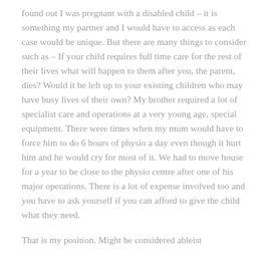found out I was pregnant with a disabled child – it is something my partner and I would have to access as each case would be unique. But there are many things to consider such as – If your child requires full time care for the rest of their lives what will happen to them after you, the parent, dies? Would it be left up to your existing children who may have busy lives of their own? My brother required a lot of specialist care and operations at a very young age, special equipment. There were times when my mum would have to force him to do 6 hours of physio a day even though it hurt him and he would cry for most of it. We had to move house for a year to be close to the physio centre after one of his major operations. There is a lot of expense involved too and you have to ask yourself if you can afford to give the child what they need.
That is my position. Might be considered ableist